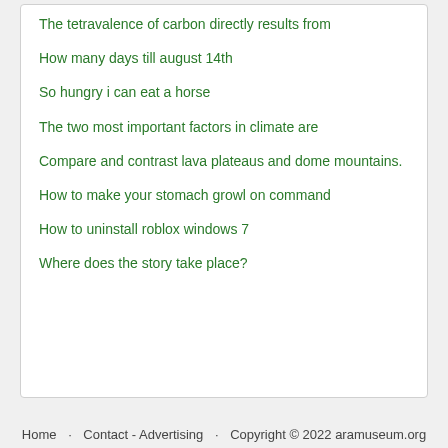The tetravalence of carbon directly results from
How many days till august 14th
So hungry i can eat a horse
The two most important factors in climate are
Compare and contrast lava plateaus and dome mountains.
How to make your stomach growl on command
How to uninstall roblox windows 7
Where does the story take place?
Home   Contact - Advertising   Copyright © 2022 aramuseum.org